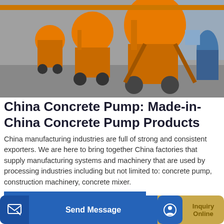[Figure (photo): Row of orange concrete mixer machines in a factory/warehouse setting with grey floor and block walls]
China Concrete Pump: Made-in-China Concrete Pump Products
China manufacturing industries are full of strong and consistent exporters. We are here to bring together China factories that supply manufacturing systems and machinery that are used by processing industries including but not limited to: concrete pump, construction machinery, concrete mixer.
[Figure (other): GET A QUOTE blue button]
[Figure (photo): Bottom partial photo of blue concrete pump machinery]
[Figure (other): Bottom bar with Send Message button and Inquiry Online button]